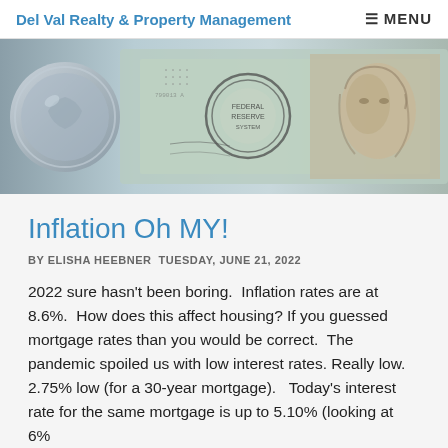Del Val Realty & Property Management  ≡ MENU
[Figure (photo): Hero banner image showing US currency — silver coins on the left, a Federal Reserve seal and a $100 bill with Benjamin Franklin's portrait on the right.]
Inflation Oh MY!
BY ELISHA HEEBNER TUESDAY, JUNE 21, 2022
2022 sure hasn't been boring. Inflation rates are at 8.6%. How does this affect housing? If you guessed mortgage rates than you would be correct. The pandemic spoiled us with low interest rates. Really low. 2.75% low (for a 30-year mortgage). Today's interest rate for the same mortgage is up to 5.10% (looking at 6%